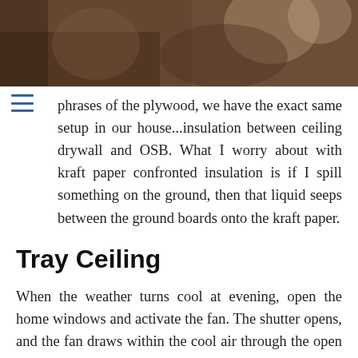[Figure (photo): Photo of wicker/rattan furniture in an interior room, partial view cut off at top]
phrases of the plywood, we have the exact same setup in our house...insulation between ceiling drywall and OSB. What I worry about with kraft paper confronted insulation is if I spill something on the ground, then that liquid seeps between the ground boards onto the kraft paper.
Tray Ceiling
When the weather turns cool at evening, open the home windows and activate the fan. The shutter opens, and the fan draws within the cool air through the open home windows. All the hot air gathered on the prime of the ceiling and within the attic expels through attic vents. You control which room or rooms are … Read More